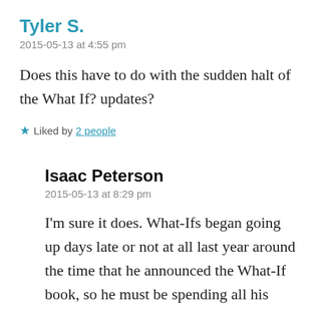Tyler S.
2015-05-13 at 4:55 pm
Does this have to do with the sudden halt of the What If? updates?
★ Liked by 2 people
Isaac Peterson
2015-05-13 at 8:29 pm
I'm sure it does. What-Ifs began going up days late or not at all last year around the time that he announced the What-If book, so he must be spending all his time working on explaining